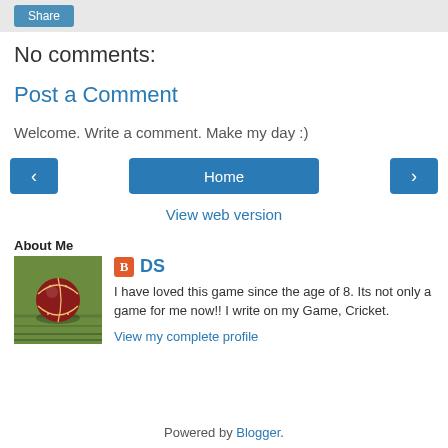[Figure (screenshot): Share button in a light gray top bar]
No comments:
Post a Comment
Welcome. Write a comment. Make my day :)
[Figure (screenshot): Navigation bar with left arrow button, Home button, and right arrow button]
View web version
About Me
[Figure (photo): Cricket ball on grass]
DS
I have loved this game since the age of 8. Its not only a game for me now!! I write on my Game, Cricket.
View my complete profile
Powered by Blogger.